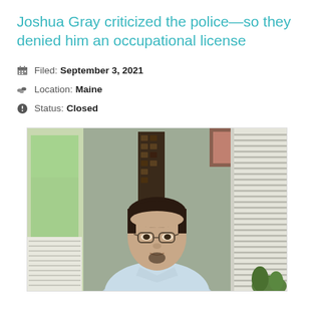Joshua Gray criticized the police—so they denied him an occupational license
Filed: September 3, 2021
Location: Maine
Status: Closed
[Figure (photo): Middle-aged man with glasses and dark hair wearing a light blue shirt, seated indoors with white plantation shutters visible on both sides and a dark wooden panel/artwork on the wall behind him.]